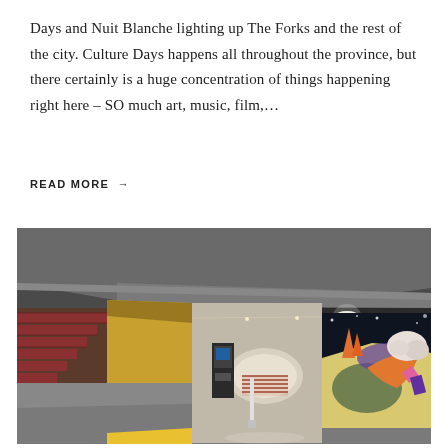Days and Nuit Blanche lighting up The Forks and the rest of the city. Culture Days happens all throughout the province, but there certainly is a huge concentration of things happening right here – SO much art, music, film,…
READ MORE →
[Figure (photo): Interior of a parking garage showing concrete beams and ceiling, red staircase on the left, yellow painted walls, a parking kiosk in the center, and a large colorful mural on the back wall featuring abstract shapes including flames, a hand, and a cloud-like figure against a dark background.]